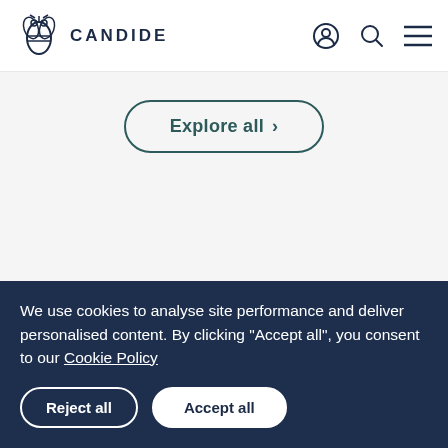CANDIDE
Explore all >
We use cookies to analyse site performance and deliver personalised content. By clicking “Accept all”, you consent to our Cookie Policy
Reject all
Accept all